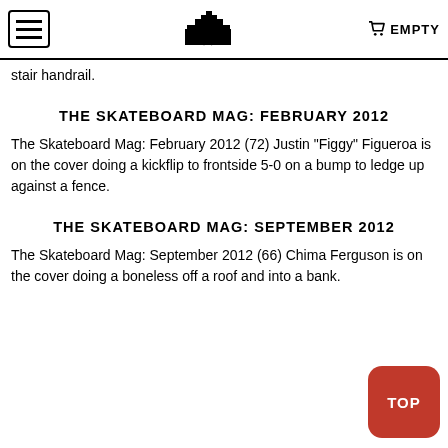EMPTY
stair handrail.
THE SKATEBOARD MAG: FEBRUARY 2012
The Skateboard Mag: February 2012 (72) Justin "Figgy" Figueroa is on the cover doing a kickflip to frontside 5-0 on a bump to ledge up against a fence.
THE SKATEBOARD MAG: SEPTEMBER 2012
The Skateboard Mag: September 2012 (66) Chima Ferguson is on the cover doing a boneless off a roof and into a bank.